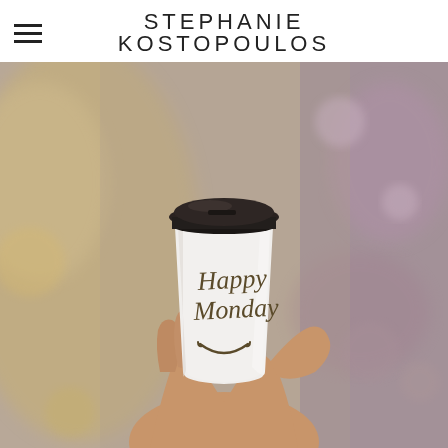STEPHANIE KOSTOPOULOS
[Figure (photo): A hand holding a white paper coffee cup with a dark lid. Written on the cup in handwritten script: 'Happy Monday' with a smiley face drawn below. Background is blurred bokeh of a cafe or shop interior.]